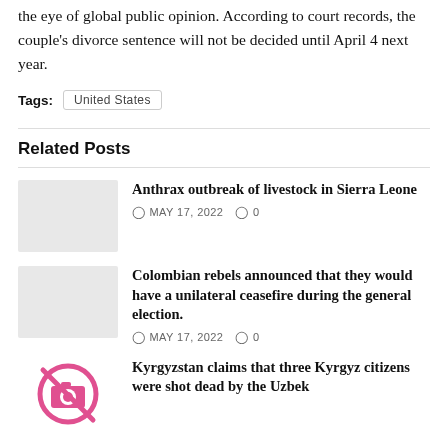the eye of global public opinion. According to court records, the couple's divorce sentence will not be decided until April 4 next year.
Tags: United States
Related Posts
Anthrax outbreak of livestock in Sierra Leone
MAY 17, 2022  0
Colombian rebels announced that they would have a unilateral ceasefire during the general election.
MAY 17, 2022  0
Kyrgyzstan claims that three Kyrgyz citizens were shot dead by the Uzbek...